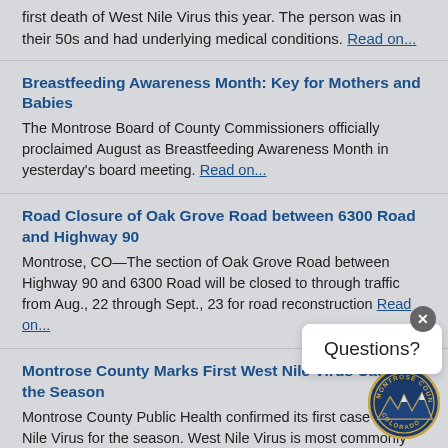first death of West Nile Virus this year. The person was in their 50s and had underlying medical conditions. Read on...
Breastfeeding Awareness Month: Key for Mothers and Babies
The Montrose Board of County Commissioners officially proclaimed August as Breastfeeding Awareness Month in yesterday's board meeting. Read on...
Road Closure of Oak Grove Road between 6300 Road and Highway 90
Montrose, CO—The section of Oak Grove Road between Highway 90 and 6300 Road will be closed to through traffic from Aug., 22 through Sept., 23 for road reconstruction Read on...
Montrose County Marks First West Nile Virus Case of the Season
Montrose County Public Health confirmed its first case of West Nile Virus for the season. West Nile Virus is most commonly spread to people by the bite of an infected mosquito. In 2... Montrose County reported 12 cases of West Nile Virus. Read on...
[Figure (other): Questions? popup dialog with close button (x) and Montrose County Colorado seal logo]